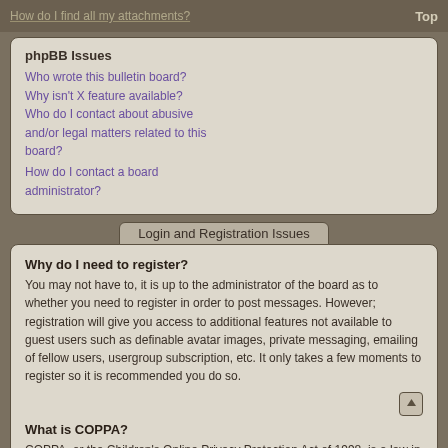How do I find all my attachments? Top
phpBB Issues
Who wrote this bulletin board?
Why isn't X feature available?
Who do I contact about abusive and/or legal matters related to this board?
How do I contact a board administrator?
Login and Registration Issues
Why do I need to register?
You may not have to, it is up to the administrator of the board as to whether you need to register in order to post messages. However; registration will give you access to additional features not available to guest users such as definable avatar images, private messaging, emailing of fellow users, usergroup subscription, etc. It only takes a few moments to register so it is recommended you do so.
What is COPPA?
COPPA, or the Children's Online Privacy Protection Act of 1998, is a law in the United States requiring websites which can potentially collect